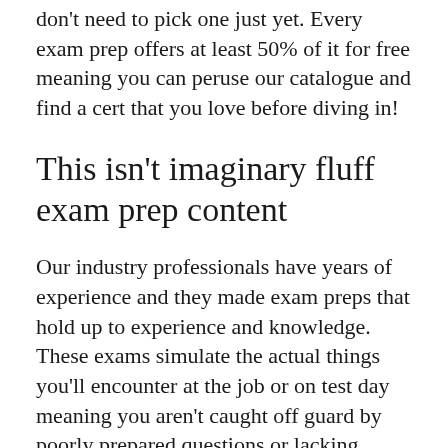don't need to pick one just yet. Every exam prep offers at least 50% of it for free meaning you can peruse our catalogue and find a cert that you love before diving in!
This isn't imaginary fluff exam prep content
Our industry professionals have years of experience and they made exam preps that hold up to experience and knowledge. These exams simulate the actual things you'll encounter at the job or on test day meaning you aren't caught off guard by poorly prepared questions or lacking technical knowledge. Come to the exam prepared to be wildly successful and confident that your next role or job will be rewarding because you actually learned the skills you needed to learn. We make these exam preps as close to the exam as possible and as up-to-date as you can get. And as we said before, you get